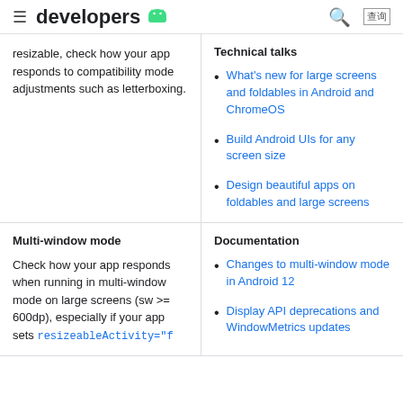developers
resizable, check how your app responds to compatibility mode adjustments such as letterboxing.
Technical talks
What's new for large screens and foldables in Android and ChromeOS
Build Android UIs for any screen size
Design beautiful apps on foldables and large screens
Multi-window mode
Check how your app responds when running in multi-window mode on large screens (sw >= 600dp), especially if your app sets resizeableActivity="f...
Documentation
Changes to multi-window mode in Android 12
Display API deprecations and WindowMetrics updates